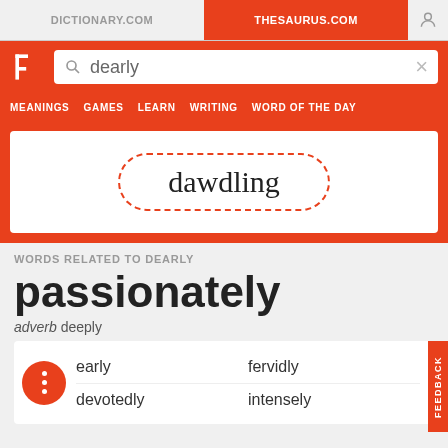DICTIONARY.COM   THESAURUS.COM
[Figure (screenshot): Search bar with text 'dearly' and a magnifying glass icon and X button]
[Figure (screenshot): Navigation bar with items: MEANINGS, GAMES, LEARN, WRITING, WORD OF THE DAY]
dawdling
WORDS RELATED TO DEARLY
passionately
adverb deeply
dearly   fervidly   devotedly   intensely